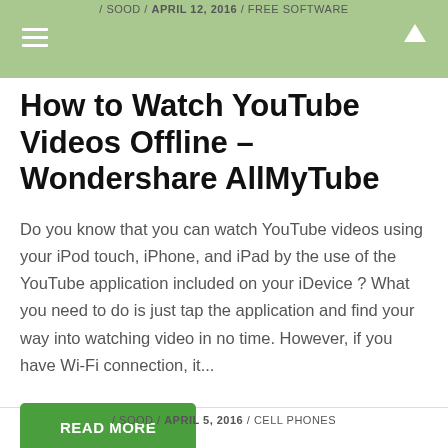/ SOOD / APRIL 12, 2016 / FREE SOFTWARE
How to Watch YouTube Videos Offline – Wondershare AllMyTube
Do you know that you can watch YouTube videos using your iPod touch, iPhone, and iPad by the use of the YouTube application included on your iDevice ? What you need to do is just tap the application and find your way into watching video in no time. However, if you have Wi-Fi connection, it...
READ MORE
0 comments
/ SOOD / APRIL 5, 2016 / CELL PHONES